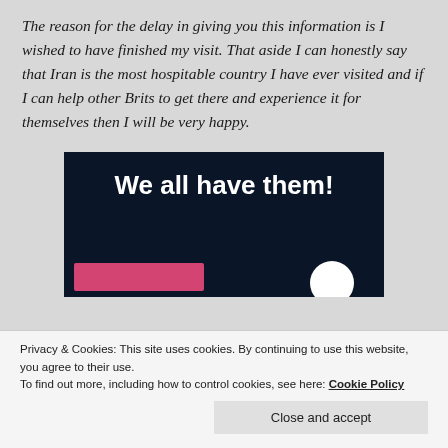The reason for the delay in giving you this information is I wished to have finished my visit. That aside I can honestly say that Iran is the most hospitable country I have ever visited and if I can help other Brits to get there and experience it for themselves then I will be very happy.
[Figure (other): Dark navy banner image with bold white text reading 'We all have them!' with a pink rectangular bar and a white circle at the bottom]
Privacy & Cookies: This site uses cookies. By continuing to use this website, you agree to their use.
To find out more, including how to control cookies, see here: Cookie Policy
Close and accept